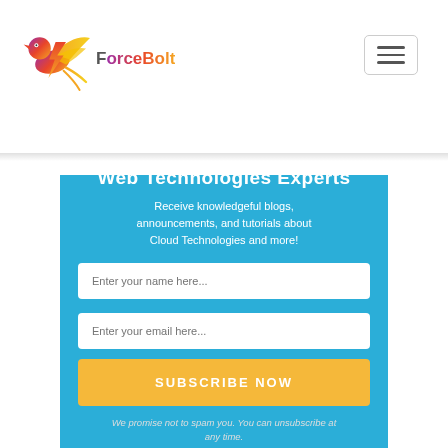[Figure (logo): ForceBolt logo — colorful phoenix/bird with lightning bolt icon, text 'ForceBolt' in gray]
[Figure (other): Hamburger menu button — three horizontal lines in a rounded rectangle border]
Web Technologies Experts
Receive knowledgeful blogs, announcements, and tutorials about Cloud Technologies and more!
Enter your name here...
Enter your email here...
SUBSCRIBE NOW
We promise not to spam you. You can unsubscribe at any time.